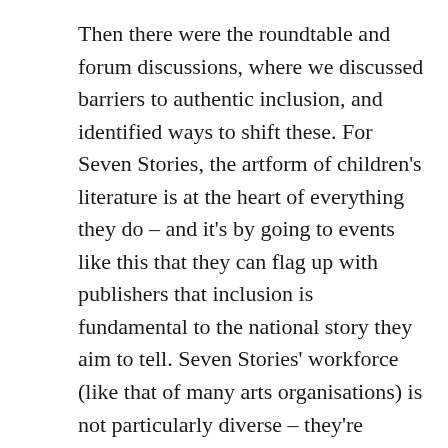Then there were the roundtable and forum discussions, where we discussed barriers to authentic inclusion, and identified ways to shift these. For Seven Stories, the artform of children's literature is at the heart of everything they do – and it's by going to events like this that they can flag up with publishers that inclusion is fundamental to the national story they aim to tell. Seven Stories' workforce (like that of many arts organisations) is not particularly diverse – they're aiming to shift that barrier through targeted pathways to work programmes from 2018 to 2022.

Highlights of the day for me were hearing from